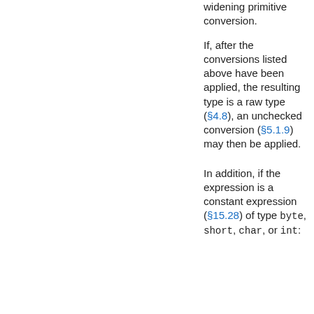widening primitive conversion.
If, after the conversions listed above have been applied, the resulting type is a raw type (§4.8), an unchecked conversion (§5.1.9) may then be applied.
In addition, if the expression is a constant expression (§15.28) of type byte, short, char, or int: